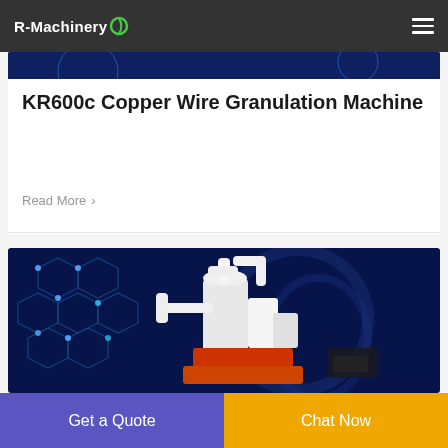R-Machinery
[Figure (photo): Partial blue-toned product image at top of card, showing the upper edge of a machinery product photo with dark blue background]
KR600c Copper Wire Granulation Machine
Read More >
[Figure (photo): Industrial copper wire granulation machine (white, orange, and black colored) photographed against a dark blue background with glowing hexagonal molecular/network pattern graphics]
Get a Quote
Chat Now